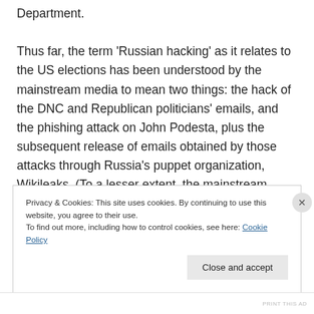Department.

Thus far, the term 'Russian hacking' as it relates to the US elections has been understood by the mainstream media to mean two things: the hack of the DNC and Republican politicians' emails, and the phishing attack on John Podesta, plus the subsequent release of emails obtained by those attacks through Russia's puppet organization, Wikileaks. (To a lesser extent, the mainstream media also acknowledges that Russia
Privacy & Cookies: This site uses cookies. By continuing to use this website, you agree to their use.
To find out more, including how to control cookies, see here: Cookie Policy
Close and accept
PRINT THIS AD